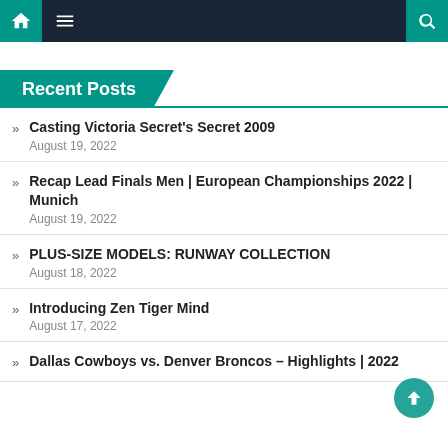Navigation bar with home, menu, and search icons
Recent Posts
Casting Victoria Secret's Secret 2009 — August 19, 2022
Recap Lead Finals Men | European Championships 2022 | Munich — August 19, 2022
PLUS-SIZE MODELS: RUNWAY COLLECTION — August 18, 2022
Introducing Zen Tiger Mind — August 17, 2022
Dallas Cowboys vs. Denver Broncos – Highlights | 2022